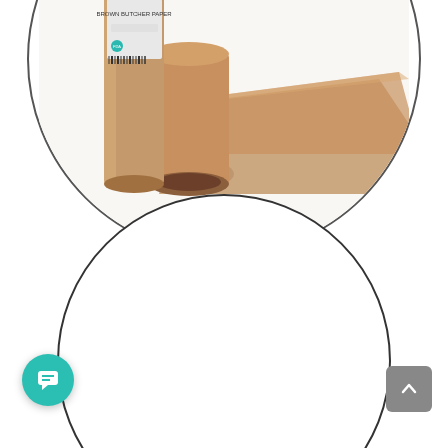[Figure (photo): Brown kraft paper rolls product photo inside a circular frame. Shows two kraft paper rolls — one upright with label visible and one unrolled flat, showing brown paper texture. Circular border with white background.]
Brown Kraft Paper 2022
September 6, 2021
[Figure (photo): Bottom portion of another circular framed product image, partially visible at the bottom of the page.]